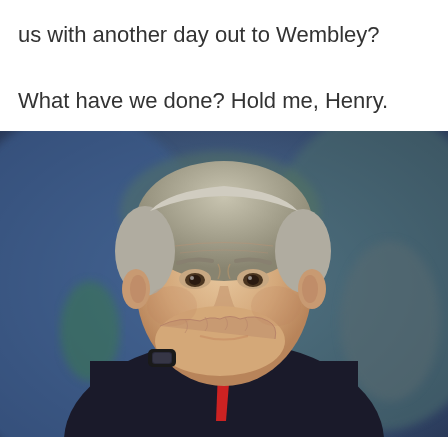us with another day out to Wembley?

What have we done? Hold me, Henry.
[Figure (photo): A man in a dark suit with a red tie, with grey hair, holding his hand to his mouth in a contemplative or worried expression. He appears to be a football manager on a touchline. The background is blurred with blue and green tones suggesting a stadium crowd.]